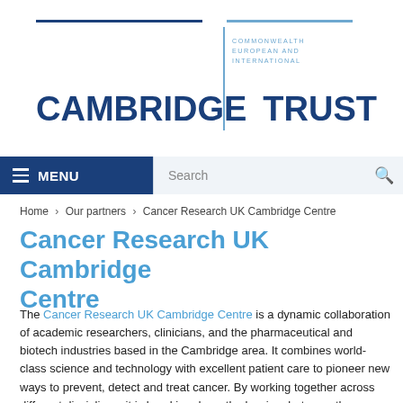[Figure (logo): Cambridge Commonwealth European and International Trust logo with two blue lines, vertical divider, and bold text CAMBRIDGE | TRUST]
MENU  Search
Home > Our partners > Cancer Research UK Cambridge Centre
Cancer Research UK Cambridge Centre
The Cancer Research UK Cambridge Centre is a dynamic collaboration of academic researchers, clinicians, and the pharmaceutical and biotech industries based in the Cambridge area. It combines world-class science and technology with excellent patient care to pioneer new ways to prevent, detect and treat cancer. By working together across different disciplines, it is breaking down the barriers between the laboratory and the clinic, enabling patients to